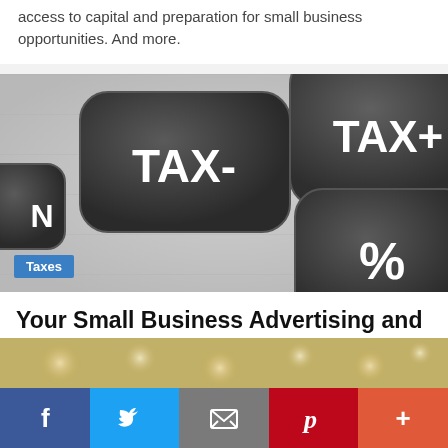access to capital and preparation for small business opportunities. And more.
[Figure (photo): Close-up photo of dark grey calculator keys labeled TAX-, TAX+, N, and % on a metallic silver calculator surface]
Taxes
Your Small Business Advertising and Marketing Costs May Be Tax Deductible | 2021
[Figure (photo): Partial view of what appears to be coins or small objects with bokeh background]
Social share bar: Facebook, Twitter, Email, Pinterest, More